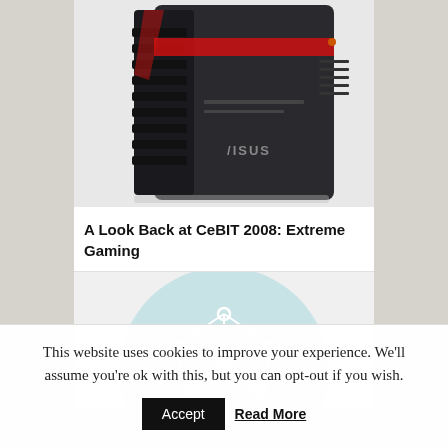[Figure (photo): ASUS gaming PC tower with black and red design, angular vents on left side, red accent lighting strip, ASUS logo visible on front panel, photographed from front-left angle on white background]
A Look Back at CeBIT 2008: Extreme Gaming
[Figure (illustration): Light blue circular background with a white wireframe network/molecular structure icon in the center, showing interconnected nodes and lines forming a geometric shape]
This website uses cookies to improve your experience. We'll assume you're ok with this, but you can opt-out if you wish.